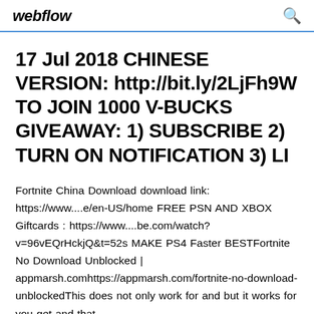webflow
17 Jul 2018 CHINESE VERSION: http://bit.ly/2LjFh9W TO JOIN 1000 V-BUCKS GIVEAWAY: 1) SUBSCRIBE 2) TURN ON NOTIFICATION 3) LI
Fortnite China Download download link: https://www....e/en-US/home FREE PSN AND XBOX Giftcards : https://www....be.com/watch?v=96vEQrHckjQ&t=52s MAKE PS4 Faster BESTFortnite No Download Unblocked | appmarsh.comhttps://appmarsh.com/fortnite-no-download-unblockedThis does not only work for and but it works for you get and that